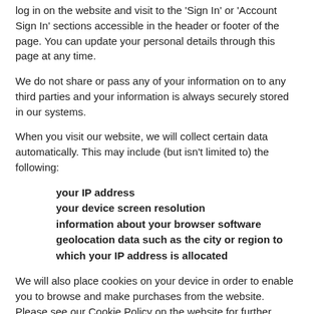log in on the website and visit to the 'Sign In' or 'Account Sign In' sections accessible in the header or footer of the page. You can update your personal details through this page at any time.
We do not share or pass any of your information on to any third parties and your information is always securely stored in our systems.
When you visit our website, we will collect certain data automatically. This may include (but isn't limited to) the following:
your IP address
your device screen resolution
information about your browser software
geolocation data such as the city or region to which your IP address is allocated
We will also place cookies on your device in order to enable you to browse and make purchases from the website. Please see our Cookie Policy on the website for further details.